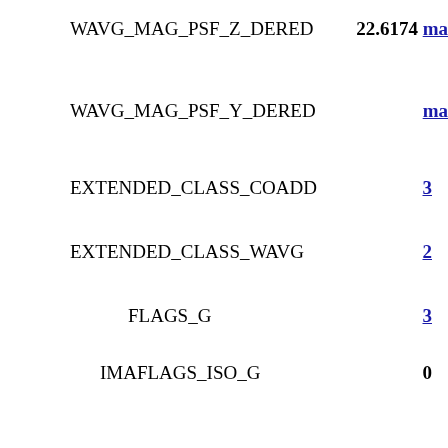WAVG_MAG_PSF_Z_DERED   22.6174 ma
WAVG_MAG_PSF_Y_DERED   ma
EXTENDED_CLASS_COADD   3
EXTENDED_CLASS_WAVG   2
FLAGS_G   3
IMAFLAGS_ISO_G   0